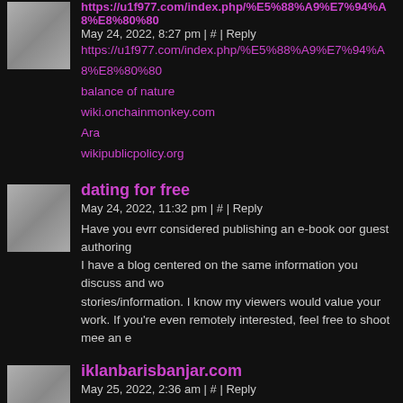https://u1f977.com/index.php/%E5%88%A9%E7%94%A8%E8%80%80... May 24, 2022, 8:27 pm | # | Reply
https://u1f977.com/index.php/%E5%88%A9%E7%94%A8%E8%80%80
balance of nature
wiki.onchainmonkey.com
Ara
wikipublicpolicy.org
dating for free
May 24, 2022, 11:32 pm | # | Reply
Have you evrr considered publishing an e-book oor guest authoring... I have a blog centered on the same information you discuss and wo... stories/information. I know my viewers would value your work. If you're even remotely interested, feel free to shoot mee an e...
iklanbarisbanjar.com
May 25, 2022, 2:36 am | # | Reply
iklanbarisbanjar.com
https://forum.800mb.ro
balance of nature
Christy
crustcorporate.com
sbobet 88
May 25, 2022, 3:43 am | # | Reply